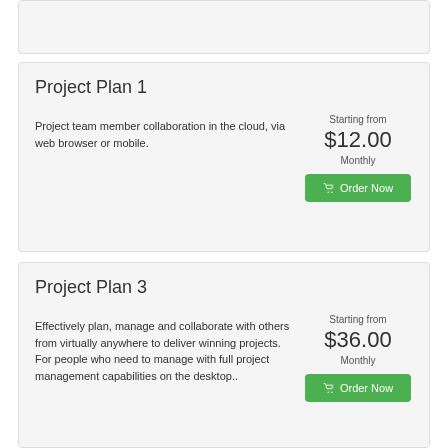Project Plan 1
Project team member collaboration in the cloud, via web browser or mobile.
Starting from $12.00 Monthly
Project Plan 3
Effectively plan, manage and collaborate with others from virtually anywhere to deliver winning projects. For people who need to manage with full project management capabilities on the desktop..
Starting from $36.00 Monthly